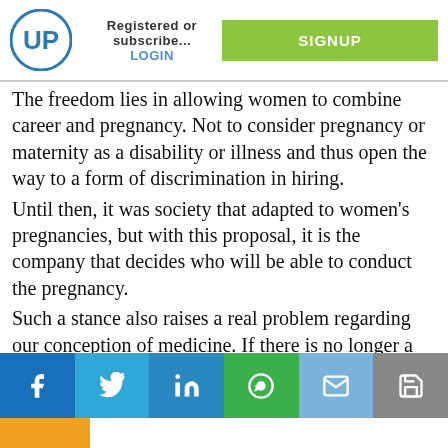Registered or subscribe... LOGIN  SIGNUP
The freedom lies in allowing women to combine career and pregnancy. Not to consider pregnancy or maternity as a disability or illness and thus open the way to a form of discrimination in hiring.
Until then, it was society that adapted to women's pregnancies, but with this proposal, it is the company that decides who will be able to conduct the pregnancy.
Such a stance also raises a real problem regarding our conception of medicine. If there is no longer a medical problem, can we still talk about medicine? Should our ethical principles be flouted in favour of a false "equality" or under the pretext that other countries accept oocyte conservation for the sake of convenience? The freezing of oocytes for "convenience" presents another problem: it is a real incentive for late
Facebook Twitter LinkedIn WhatsApp Email Save